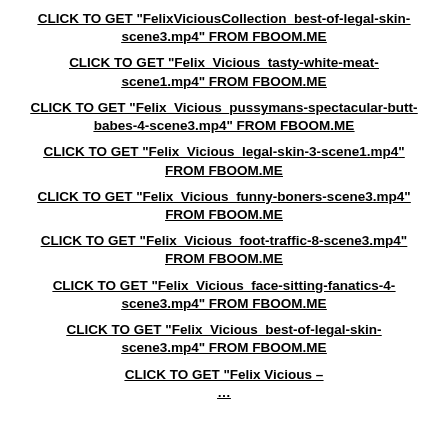CLICK TO GET "FelixViciousCollection_best-of-legal-skin-scene3.mp4" FROM FBOOM.ME
CLICK TO GET "Felix_Vicious_tasty-white-meat-scene1.mp4" FROM FBOOM.ME
CLICK TO GET "Felix_Vicious_pussymans-spectacular-butt-babes-4-scene3.mp4" FROM FBOOM.ME
CLICK TO GET "Felix_Vicious_legal-skin-3-scene1.mp4" FROM FBOOM.ME
CLICK TO GET "Felix_Vicious_funny-boners-scene3.mp4" FROM FBOOM.ME
CLICK TO GET "Felix_Vicious_foot-traffic-8-scene3.mp4" FROM FBOOM.ME
CLICK TO GET "Felix_Vicious_face-sitting-fanatics-4-scene3.mp4" FROM FBOOM.ME
CLICK TO GET "Felix_Vicious_best-of-legal-skin-scene3.mp4" FROM FBOOM.ME
CLICK TO GET "Felix Vicious – …" FROM FBOOM.ME